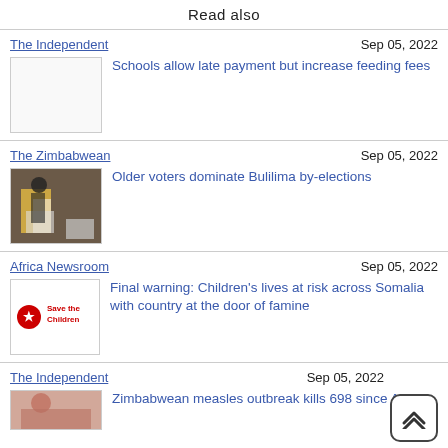Read also
The Independent
Sep 05, 2022
[Figure (other): Blank thumbnail placeholder]
Schools allow late payment but increase feeding fees
The Zimbabwean
Sep 05, 2022
[Figure (photo): Person at a voting booth with ballot box]
Older voters dominate Bulilima by-elections
Africa Newsroom
Sep 05, 2022
[Figure (logo): Save the Children logo — red icon and text]
Final warning: Children's lives at risk across Somalia with country at the door of famine
The Independent
Sep 05, 2022
[Figure (photo): Partial thumbnail of people, cropped at bottom]
Zimbabwean measles outbreak kills 698 since April